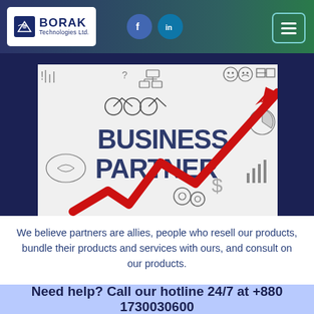BORAK Technologies Ltd.
[Figure (illustration): Business Partner promotional image with a red zigzag arrow pointing upward and business icons on white background with text 'BUSINESS PARTNER']
We believe partners are allies, people who resell our products, bundle their products and services with ours, and consult on our products.
Need help? Call our hotline 24/7 at +880 1730030600